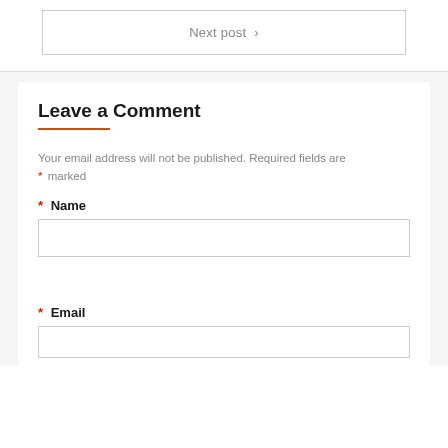Next post ›
Leave a Comment
Your email address will not be published. Required fields are * marked
* Name
* Email